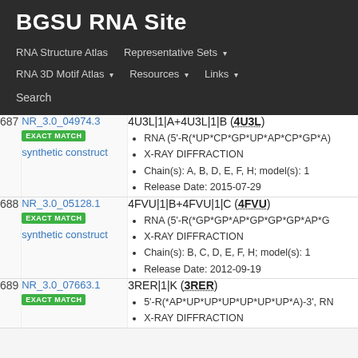BGSU RNA Site
RNA Structure Atlas | Representative Sets ▾ | RNA 3D Motif Atlas ▾ | Resources ▾ | Links ▾ | Search
| # | ID / Match | Entry Details |
| --- | --- | --- |
| 687 | NR_3.0_04974.3
EXACT MATCH
synthetic construct | 4U3L|1|A+4U3L|1|B (4U3L)
• RNA (5'-R(*UP*CP*GP*UP*AP*CP*GP*A)
• X-RAY DIFFRACTION
• Chain(s): A, B, D, E, F, H; model(s): 1
• Release Date: 2015-07-29 |
| 688 | NR_3.0_05128.1
EXACT MATCH
synthetic construct | 4FVU|1|B+4FVU|1|C (4FVU)
• RNA (5'-R(*GP*GP*AP*GP*GP*GP*AP*G)
• X-RAY DIFFRACTION
• Chain(s): B, C, D, E, F, H; model(s): 1
• Release Date: 2012-09-19 |
| 689 | NR_3.0_07663.1
EXACT MATCH | 3RER|1|K (3RER)
• 5'-R(*AP*UP*UP*UP*UP*UP*UP*A)-3', RN
• X-RAY DIFFRACTION |